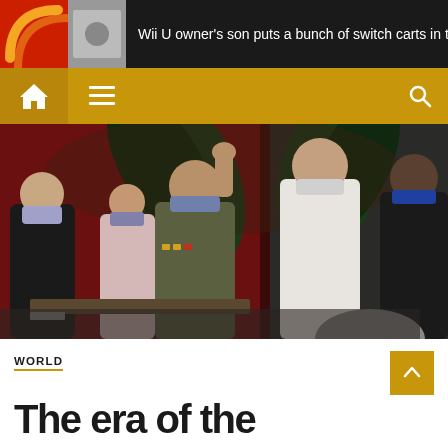Wii U owner's son puts a bunch of switch carts in th
[Figure (photo): Group of people in masks at what appears to be an official Cuban government event. A man in military uniform raises his hand while others applaud. Some wear white guayabera shirts.]
WORLD
The era of the